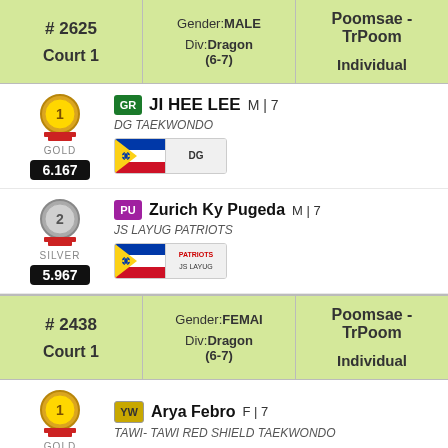| # | Gender/Div | Event |
| --- | --- | --- |
| # 2625 / Court 1 | Gender: MALE / Div: Dragon (6-7) | Poomsae - TrPoom / Individual |
GOLD | 6.167 | GR | JI HEE LEE M | 7 | DG TAEKWONDO
SILVER | 5.967 | PU | Zurich Ky Pugeda M | 7 | JS LAYUG PATRIOTS
| # | Gender/Div | Event |
| --- | --- | --- |
| # 2438 / Court 1 | Gender: FEMALE / Div: Dragon (6-7) | Poomsae - TrPoom / Individual |
GOLD | YW | Arya Febro F | 7 | TAWI- TAWI RED SHIELD TAEKWONDO